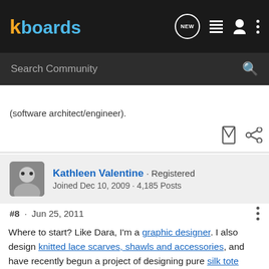kboards
(software architect/engineer).
Kathleen Valentine · Registered
Joined Dec 10, 2009 · 4,185 Posts
#8 · Jun 25, 2011
Where to start? Like Dara, I'm a graphic designer. I also design knitted lace scarves, shawls and accessories, and have recently begun a project of designing pure silk tote bags from recycled Indian saris.